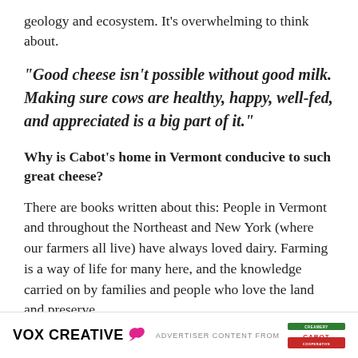geology and ecosystem. It’s overwhelming to think about.
“Good cheese isn’t possible without good milk. Making sure cows are healthy, happy, well-fed, and appreciated is a big part of it.”
Why is Cabot’s home in Vermont conducive to such great cheese?
There are books written about this: People in Vermont and throughout the Northeast and New York (where our farmers all live) have always loved dairy. Farming is a way of life for many here, and the knowledge carried on by families and people who love the land and preserve
VOX CREATIVE ♥  ADVERTISER CONTENT FROM  CABOT